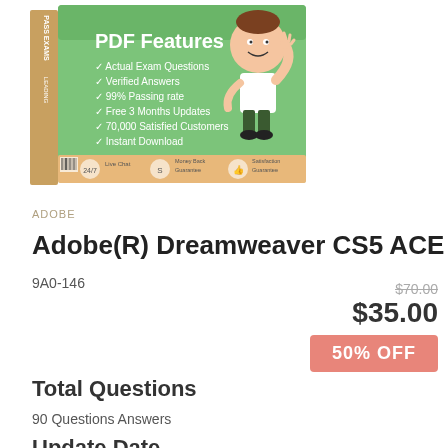[Figure (illustration): Product box image for exam dumps PDF featuring a green box with PDF Features text, checklist items (Actual Exam Questions, Verified Answers, 99% Passing rate, Free 3 Months Updates, 70,000 Satisfied Customers, Instant Download), a cartoon character waving, and footer icons for 24/7 Live Chat, Money Back Guarantee, Satisfaction Guarantee. Side label says PASS EXAMS LEADING.]
ADOBE
Adobe(R) Dreamweaver CS5 ACE
9A0-146
$70.00
$35.00
50% OFF
Total Questions
90 Questions Answers
Update Date